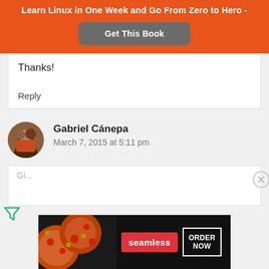Learn Linux in One Week and Go From Zero to Hero -
Get This Book
Thanks!
Reply
Gabriel Cánepa
March 7, 2015 at 5:11 pm
[Figure (photo): Circular avatar photo of Gabriel Cánepa]
[Figure (photo): Seamless food delivery advertisement banner with pizza image, seamless logo, and ORDER NOW button]
[Figure (logo): Green filter/funnel icon on left side]
[Figure (other): Close/X button circle on right side of comment box]